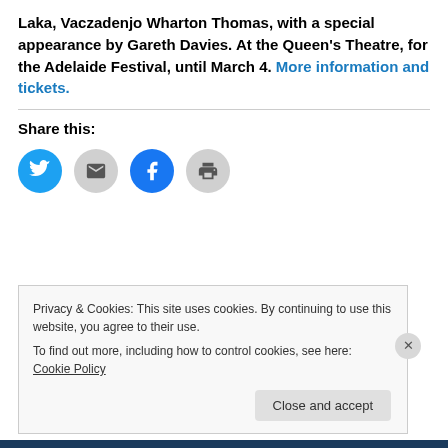Laka, Vaczadenjo Wharton Thomas, with a special appearance by Gareth Davies. At the Queen's Theatre, for the Adelaide Festival, until March 4. More information and tickets.
Share this:
[Figure (other): Four social sharing icon circles: Twitter (blue), Email (grey), Facebook (blue), Print (grey)]
Privacy & Cookies: This site uses cookies. By continuing to use this website, you agree to their use. To find out more, including how to control cookies, see here: Cookie Policy